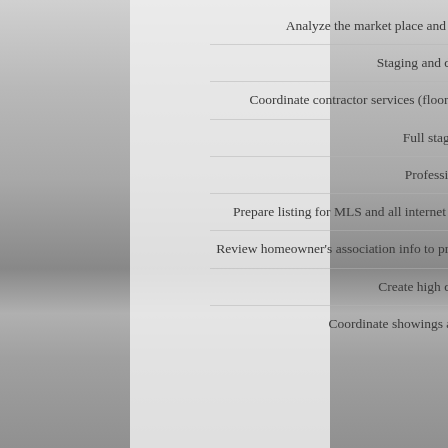Analyze the market place and advise you on appropriate pricing.
Staging and decorating advice.
Coordinate contractor services (floors, carpet, storage, painting, misc repairs).
Full staging services.
Professional Photos.
Prepare listing for MLS and all internet sites to effectively reach all targeted buyers.
Review homeowner's association info to prepare for any marketing or financing obstacles.
Create high quality brochures.
Coordinate showings and answer questions from